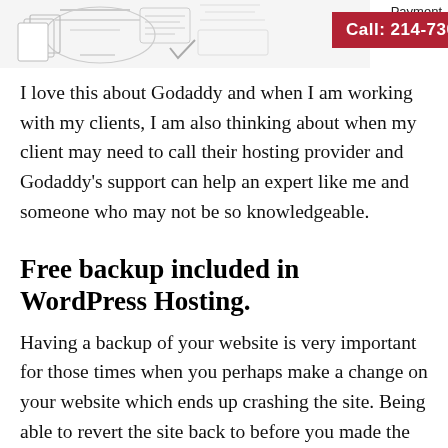[Figure (screenshot): Top banner showing a sketch/illustration image on the left, a red call button with 'Call: 214-730-5801', and text reading 'Payment options' on the upper right.]
I love this about Godaddy and when I am working with my clients, I am also thinking about when my client may need to call their hosting provider and Godaddy's support can help an expert like me and someone who may not be so knowledgeable.
Free backup included in WordPress Hosting.
Having a backup of your website is very important for those times when you perhaps make a change on your website which ends up crashing the site. Being able to revert the site back to before you made the changes is a great thing. Godaddy includes this free in their WordPress hosting and I love to see this as there